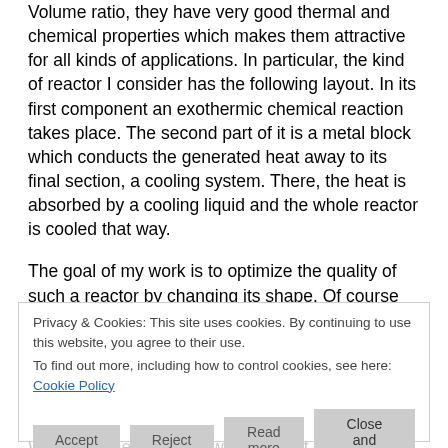Volume ratio, they have very good thermal and chemical properties which makes them attractive for all kinds of applications. In particular, the kind of reactor I consider has the following layout. In its first component an exothermic chemical reaction takes place. The second part of it is a metal block which conducts the generated heat away to its final section, a cooling system. There, the heat is absorbed by a cooling liquid and the whole reactor is cooled that way.
The goal of my work is to optimize the quality of such a reactor by changing its shape. Of course the manufacturing costs and other properties also have to be considered...
Privacy & Cookies: This site uses cookies. By continuing to use this website, you agree to their use. To find out more, including how to control cookies, see here: Cookie Policy